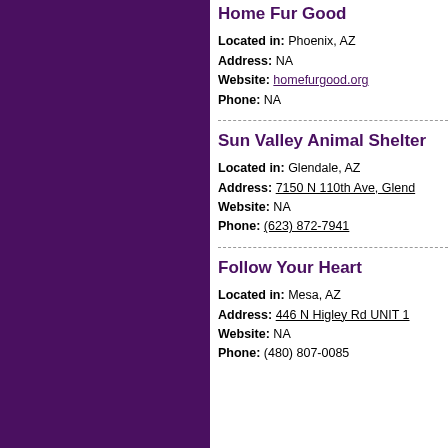Home Fur Good
Located in: Phoenix, AZ
Address: NA
Website: homefurgood.org
Phone: NA
Sun Valley Animal Shelter
Located in: Glendale, AZ
Address: 7150 N 110th Ave, Glendale
Website: NA
Phone: (623) 872-7941
Follow Your Heart
Located in: Mesa, AZ
Address: 446 N Higley Rd UNIT 1
Website: NA
Phone: (480) 807-0085